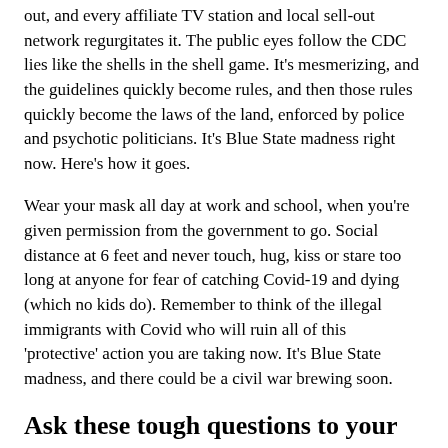out, and every affiliate TV station and local sell-out network regurgitates it. The public eyes follow the CDC lies like the shells in the shell game. It's mesmerizing, and the guidelines quickly become rules, and then those rules quickly become the laws of the land, enforced by police and psychotic politicians. It's Blue State madness right now. Here's how it goes.
Wear your mask all day at work and school, when you're given permission from the government to go. Social distance at 6 feet and never touch, hug, kiss or stare too long at anyone for fear of catching Covid-19 and dying (which no kids do). Remember to think of the illegal immigrants with Covid who will ruin all of this 'protective' action you are taking now. It's Blue State madness, and there could be a civil war brewing soon.
Ask these tough questions to your government, or be run rough-shod over and lose your health and human rights
Why do small and medium-sized businesses need to be